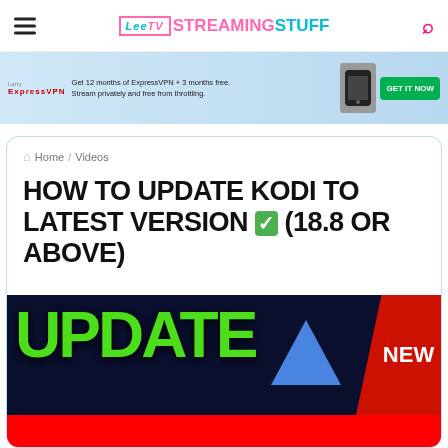LeeTV STREAMINGSTUFF
[Figure (infographic): ExpressVPN advertisement banner: Get 12 months of ExpressVPN + 3 months free. Stream privately and free from throttling.]
Home / Videos
HOW TO UPDATE KODI TO LATEST VERSION ✅ (18.8 OR ABOVE)
[Figure (screenshot): Video thumbnail showing the word UPDATE in large green text on dark blue background, with an upward arrow graphic and a red NEW badge in the top right corner.]